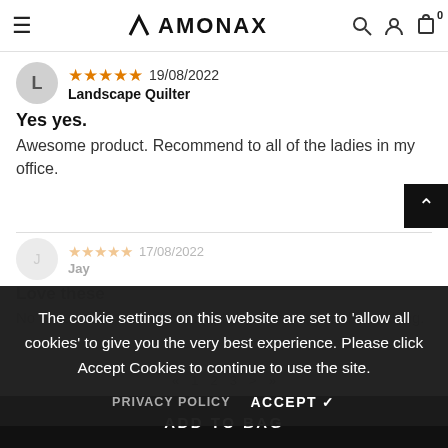AMONAX
★★★★★ 19/08/2022
Landscape Quilter
Yes yes.
Awesome product. Recommend to all of the ladies in my office.
★★★★★ 17/08/2022
Jay
Love these
No excuse not to work on my physical therapy and stretching.
The cookie settings on this website are set to 'allow all cookies' to give you the very best experience. Please click Accept Cookies to continue to use the site.
PRIVACY POLICY   ACCEPT ✓
ADD TO BAG